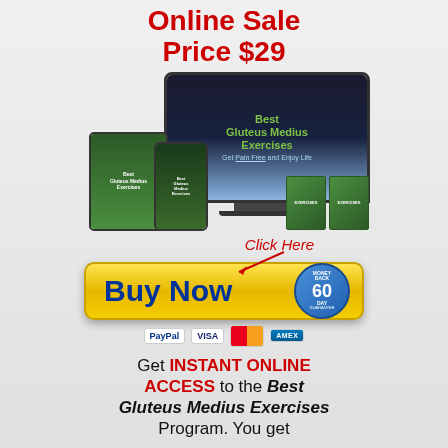Online Sale Price $29
[Figure (illustration): Product bundle showing a desktop monitor, tablet, smartphone, and DVD/CD boxes displaying 'Best Gluteus Medius Exercises' program]
[Figure (infographic): Click Here arrow pointing to a yellow Buy Now button with 60-day money back guarantee badge, and payment icons (PayPal, VISA, MasterCard, American Express)]
Get INSTANT ONLINE ACCESS to the Best Gluteus Medius Exercises Program. You get